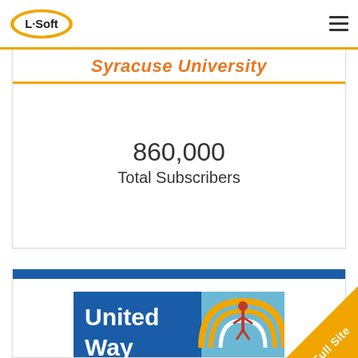[Figure (logo): L-Soft company logo - oval shape with L-Soft text in black and orange]
Syracuse University
860,000
Total Subscribers
[Figure (logo): United Way logo - blue rectangle with 'United Way' text and orange/white rainbow arc with figure and hands graphic]
Full Site